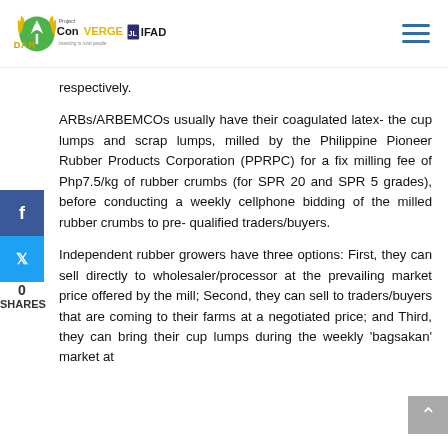DAR ConVERGE Project IFAD — Investing in rural people
respectively.
ARBs/ARBEMCOs usually have their coagulated latex- the cup lumps and scrap lumps, milled by the Philippine Pioneer Rubber Products Corporation (PPRPC) for a fix milling fee of Php7.5/kg of rubber crumbs (for SPR 20 and SPR 5 grades), before conducting a weekly cellphone bidding of the milled rubber crumbs to pre-qualified traders/buyers.
Independent rubber growers have three options: First, they can sell directly to wholesaler/processor at the prevailing market price offered by the mill; Second, they can sell to traders/buyers that are coming to their farms at a negotiated price; and Third, they can bring their cup lumps during the weekly 'bagsakan' market at